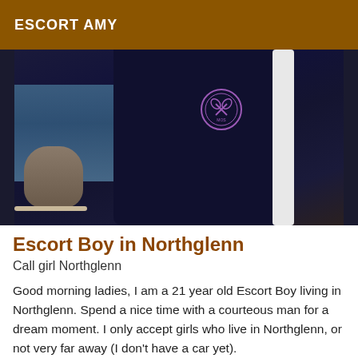ESCORT AMY
[Figure (photo): A person wearing a dark navy Wimbledon-branded jacket with a white stripe on the sleeve, standing near water with a child visible in the lower left background.]
Escort Boy in Northglenn
Call girl Northglenn
Good morning ladies, I am a 21 year old Escort Boy living in Northglenn. Spend a nice time with a courteous man for a dream moment. I only accept girls who live in Northglenn, or not very far away (I don't have a car yet).